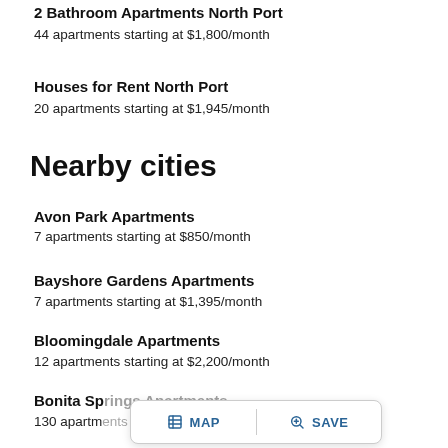2 Bathroom Apartments North Port
44 apartments starting at $1,800/month
Houses for Rent North Port
20 apartments starting at $1,945/month
Nearby cities
Avon Park Apartments
7 apartments starting at $850/month
Bayshore Gardens Apartments
7 apartments starting at $1,395/month
Bloomingdale Apartments
12 apartments starting at $2,200/month
Bonita Sp...
130 apartm...